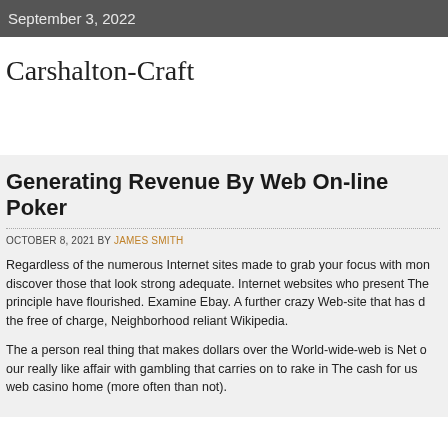September 3, 2022
Carshalton-Craft
Generating Revenue By Web On-line Poker
OCTOBER 8, 2021 BY JAMES SMITH
Regardless of the numerous Internet sites made to grab your focus with mon discover those that look strong adequate. Internet websites who present The principle have flourished. Examine Ebay. A further crazy Web-site that has d the free of charge, Neighborhood reliant Wikipedia.
The a person real thing that makes dollars over the World-wide-web is Net o our really like affair with gambling that carries on to rake in The cash for us web casino home (more often than not).